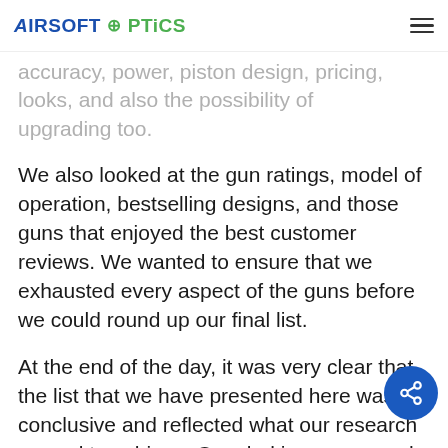AIRSOFT OPTICS
accuracy, power, piston design, pricing, looks, and also the possibility of upgrading too.
We also looked at the gun ratings, model of operation, bestselling designs, and those guns that enjoyed the best customer reviews. We wanted to ensure that we exhausted every aspect of the guns before we could round up our final list.
At the end of the day, it was very clear that the list that we have presented here was conclusive and reflected what our research geared to achieve. Coupled in our research was the history of the Ak 47